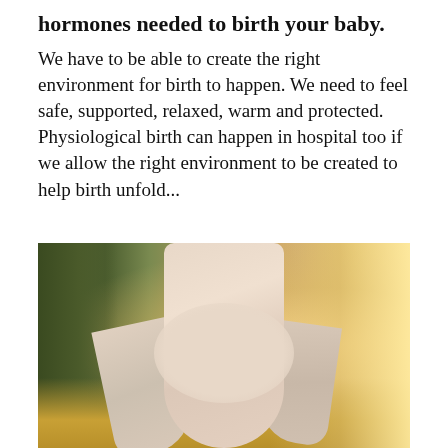hormones needed to birth your baby. We have to be able to create the right environment for birth to happen. We need to feel safe, supported, relaxed, warm and protected. Physiological birth can happen in hospital too if we allow the right environment to be created to help birth unfold...
[Figure (photo): A pregnant woman in a flowing floral dress standing in a golden field path, holding her belly, surrounded by dry grass and greenery with bright warm light behind her.]